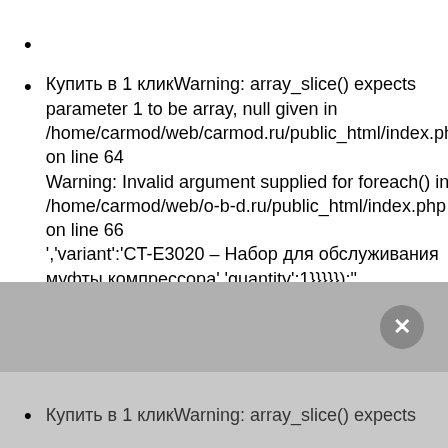Купить в 1 кликWarning: array_slice() expects parameter 1 to be array, null given in /home/carmod/web/carmod.ru/public_html/index.php on line 64
Warning: Invalid argument supplied for foreach() in /home/carmod/web/o-b-d.ru/public_html/index.php on line 66
','variant':'CT-E3020 – Набор для обслуживания муфты компрессора','quantity':1}}}}); class="add_to_cart" value="В корзину" added_text="Добавлено"/>
Купить в 1 кликWarning: array_slice() expects